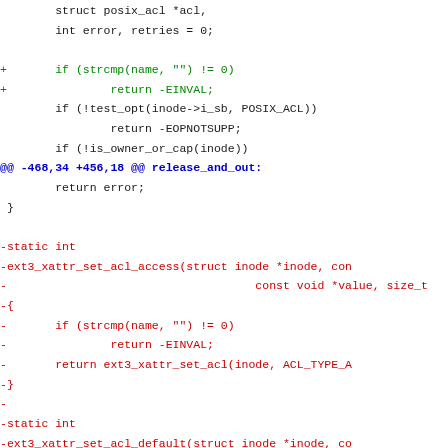Diff/patch code block showing changes to ext3 xattr ACL functions